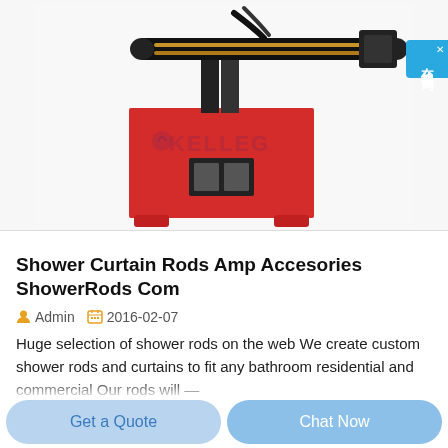[Figure (photo): Red industrial KELLEG welding or drilling machine with black mechanical arm on top, mounted on a red steel cabinet base with control panel]
Shower Curtain Rods Amp Accesories ShowerRods Com
Admin   2016-02-07
Huge selection of shower rods on the web We create custom shower rods and curtains to fit any bathroom residential and commercial Our rods will —